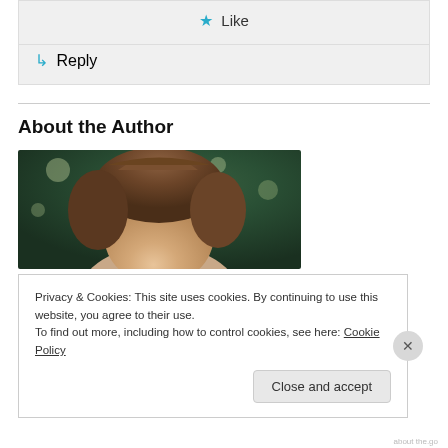★ Like
↳ Reply
About the Author
[Figure (photo): Portrait photo of a woman with brown hair, photographed outdoors with green foliage in background, cropped to show top of head and face]
Privacy & Cookies: This site uses cookies. By continuing to use this website, you agree to their use.
To find out more, including how to control cookies, see here: Cookie Policy
Close and accept